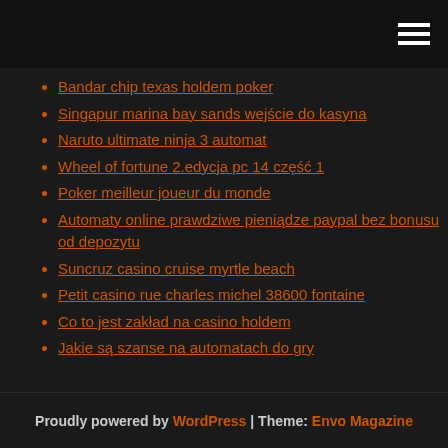Bandar chip texas holdem poker
Singapur marina bay sands wejście do kasyna
Naruto ultimate ninja 3 automat
Wheel of fortune 2.edycja pc 14 część 1
Poker meilleur joueur du monde
Automaty online prawdziwe pieniądze paypal bez bonusu od depozytu
Suncruz casino cruise myrtle beach
Petit casino rue charles michel 38600 fontaine
Co to jest zakład na casino holdem
Jakie są szanse na automatach do gry
Proudly powered by WordPress | Theme: Envo Magazine